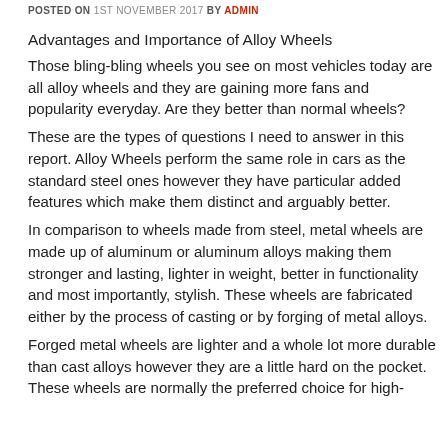POSTED ON 1ST NOVEMBER 2017 BY ADMIN
Advantages and Importance of Alloy Wheels
Those bling-bling wheels you see on most vehicles today are all alloy wheels and they are gaining more fans and popularity everyday. Are they better than normal wheels?
These are the types of questions I need to answer in this report. Alloy Wheels perform the same role in cars as the standard steel ones however they have particular added features which make them distinct and arguably better.
In comparison to wheels made from steel, metal wheels are made up of aluminum or aluminum alloys making them stronger and lasting, lighter in weight, better in functionality and most importantly, stylish. These wheels are fabricated either by the process of casting or by forging of metal alloys.
Forged metal wheels are lighter and a whole lot more durable than cast alloys however they are a little hard on the pocket. These wheels are normally the preferred choice for high-